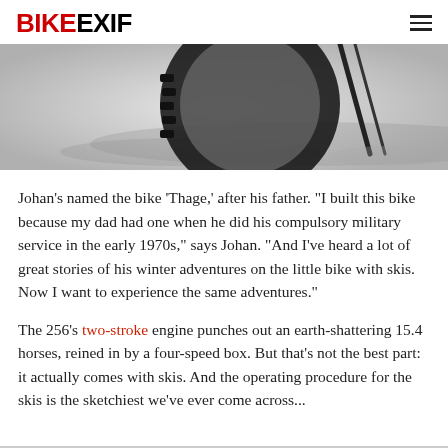BIKEEXIF
[Figure (photo): Black and white close-up photo of a motorcycle tire/wheel on a light gray background, with shadow visible.]
Johan's named the bike 'Thage,' after his father. "I built this bike because my dad had one when he did his compulsory military service in the early 1970s," says Johan. "And I've heard a lot of great stories of his winter adventures on the little bike with skis. Now I want to experience the same adventures."
The 256's two-stroke engine punches out an earth-shattering 15.4 horses, reined in by a four-speed box. But that's not the best part: it actually comes with skis. And the operating procedure for the skis is the sketchiest we've ever come across...